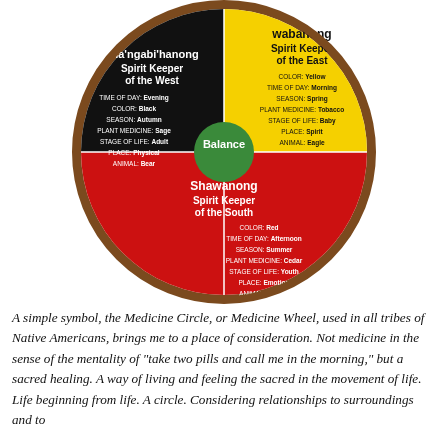[Figure (infographic): Medicine Wheel / Medicine Circle diagram divided into four quadrants: black (West - sha'ngabi'hanong Spirit Keeper of the West), yellow (East - wabanong Spirit Keeper of the East), red (South - Shawanong Spirit Keeper of the South), and white (North - partially visible). Center has green circle labeled 'Balance'. Each quadrant lists: color, time of day, season, plant medicine, stage of life, place, animal.]
A simple symbol, the Medicine Circle, or Medicine Wheel, used in all tribes of Native Americans, brings me to a place of consideration. Not medicine in the sense of the mentality of "take two pills and call me in the morning," but a sacred healing. A way of living and feeling the sacred in the movement of life. Life beginning from life. A circle. Considering relationships to surroundings and to